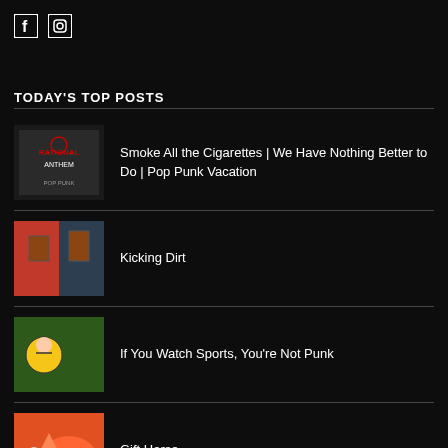[Figure (logo): Facebook icon (square with F) and Instagram icon (square camera)]
TODAY'S TOP POSTS
Smoke All the Cigarettes | We Have Nothing Better to Do | Pop Punk Vacation
Kicking Dirt
If You Watch Sports, You're Not Punk
Gift Horse
Court Dating